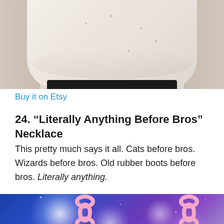[Figure (photo): Photo of a person's torso wearing a white fitted t-shirt and black pants/skirt, cropped to show only the midsection]
Buy it on Etsy
24. “Literally Anything Before Bros” Necklace
This pretty much says it all. Cats before bros. Wizards before bros. Old rubber boots before bros. Literally anything.
[Figure (photo): Close-up photo of a necklace with a pink chain and a heart-shaped glittery translucent pendant with colorful glitter, against a blue and purple galaxy-style background]